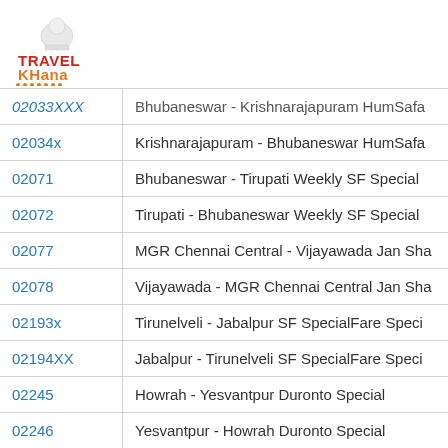[Figure (logo): TravelKhana logo with chef hat icon, 'TRAVEL' in red and 'KHana' in orange, with orange dots underline]
| Train No. | Train Name |
| --- | --- |
| 02033XXX | Bhubaneswar - Krishnarajapuram HumSafa |
| 02034x | Krishnarajapuram - Bhubaneswar HumSafa |
| 02071 | Bhubaneswar - Tirupati Weekly SF Special |
| 02072 | Tirupati - Bhubaneswar Weekly SF Special |
| 02077 | MGR Chennai Central - Vijayawada Jan Sha |
| 02078 | Vijayawada - MGR Chennai Central Jan Sha |
| 02193x | Tirunelveli - Jabalpur SF SpecialFare Speci |
| 02194XX | Jabalpur - Tirunelveli SF SpecialFare Speci |
| 02245 | Howrah - Yesvantpur Duronto Special |
| 02246 | Yesvantpur - Howrah Duronto Special |